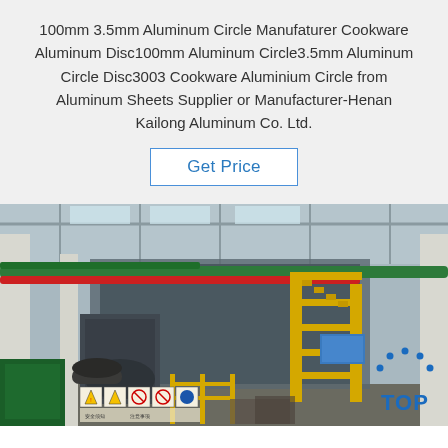100mm 3.5mm Aluminum Circle Manufaturer Cookware Aluminum Disc100mm Aluminum Circle3.5mm Aluminum Circle Disc3003 Cookware Aluminium Circle from Aluminum Sheets Supplier or Manufacturer-Henan Kailong Aluminum Co. Ltd.
Get Price
[Figure (photo): Industrial factory interior showing aluminum manufacturing facility with yellow safety railings/stairs, green and red overhead pipes, large machinery, safety warning signs at ground level, and white structural columns.]